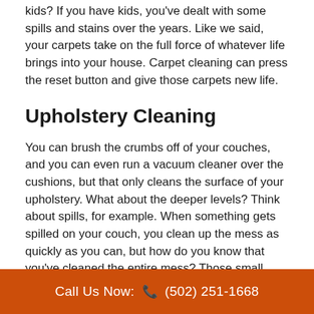kids? If you have kids, you've dealt with some spills and stains over the years. Like we said, your carpets take on the full force of whatever life brings into your house. Carpet cleaning can press the reset button and give those carpets new life.
Upholstery Cleaning
You can brush the crumbs off of your couches, and you can even run a vacuum cleaner over the cushions, but that only cleans the surface of your upholstery. What about the deeper levels? Think about spills, for example. When something gets spilled on your couch, you clean up the mess as quickly as you can, but how do you know that you've cleaned the entire mess? Those small spills often go deeper into your furniture than you realize, and they stay there long after you've forgotten about them.
What about pollen and similar substances? You carry dust...
Call Us Now: ☎ (502) 251-1668